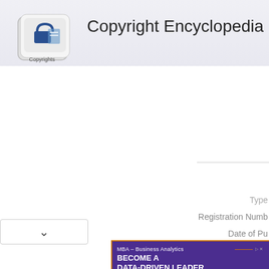[Figure (logo): Copyright Encyclopedia logo: a 3D keyboard key with a padlock and document icon, labeled 'Copyrights']
Copyright Encyclopedia
Type
Registration Numb
Date of Pu
[Figure (other): Dropdown chevron button (v)]
[Figure (infographic): Advertisement banner: MBA - Business Analytics. BECOME A DATA-DRIVEN LEADER. LEARN MORE button. HIGH POINT UNIVERSITY. Purple background with orange accents.]